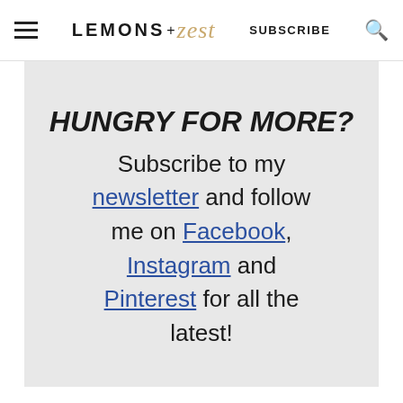LEMONS + zest  SUBSCRIBE
HUNGRY FOR MORE?
Subscribe to my newsletter and follow me on Facebook, Instagram and Pinterest for all the latest!